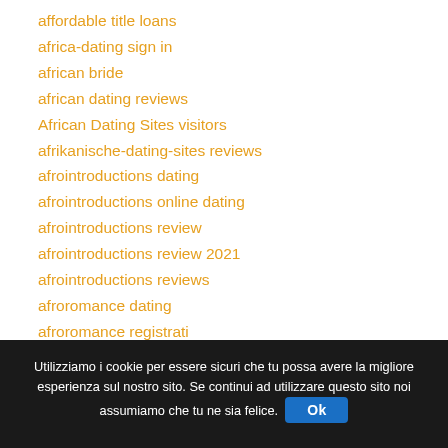affordable title loans
africa-dating sign in
african bride
african dating reviews
African Dating Sites visitors
afrikanische-dating-sites reviews
afrointroductions dating
afrointroductions online dating
afrointroductions review
afrointroductions review 2021
afrointroductions reviews
afroromance dating
afroromance registrati
Utilizziamo i cookie per essere sicuri che tu possa avere la migliore esperienza sul nostro sito. Se continui ad utilizzare questo sito noi assumiamo che tu ne sia felice. Ok